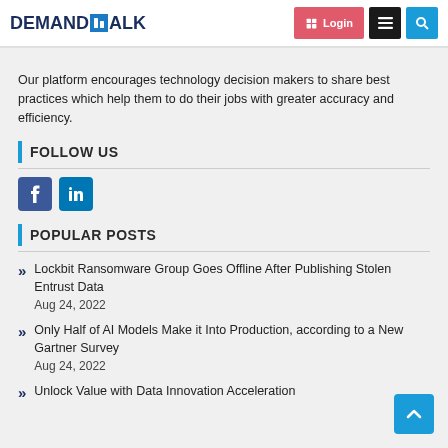DEMANDTALK — Login, Menu, Search
Our platform encourages technology decision makers to share best practices which help them to do their jobs with greater accuracy and efficiency.
FOLLOW US
[Figure (other): Social media icons: Facebook and LinkedIn]
POPULAR POSTS
Lockbit Ransomware Group Goes Offline After Publishing Stolen Entrust Data
Aug 24, 2022
Only Half of AI Models Make it Into Production, according to a New Gartner Survey
Aug 24, 2022
Unlock Value with Data Innovation Acceleration